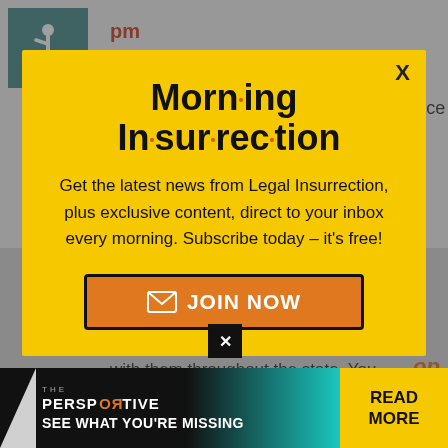[Figure (screenshot): Background webpage with accessibility icon (wheelchair symbol on teal background) in top left]
pm
Those Harvard hiring files have long since disappeared into the same black
[Figure (infographic): Yellow modal popup for Morning Insurrection email newsletter. Title reads 'Morn•ing In•sur•rec•tion' with orange dots. Body text: 'Get the latest news from Legal Insurrection, plus exclusive content, direct to your inbox every morning. Subscribe today – it's free!' Orange JOIN NOW button with envelope icon.]
with them throughout the state. You
[Figure (screenshot): Bottom advertisement bar: THE PERSPECTIVE / SEE WHAT YOU'RE MISSING with READ MORE button on yellow background]